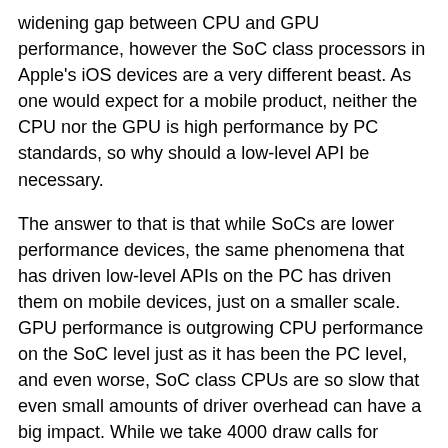widening gap between CPU and GPU performance, however the SoC class processors in Apple's iOS devices are a very different beast. As one would expect for a mobile product, neither the CPU nor the GPU is high performance by PC standards, so why should a low-level API be necessary.
The answer to that is that while SoCs are lower performance devices, the same phenomena that has driven low-level APIs on the PC has driven them on mobile devices, just on a smaller scale. GPU performance is outgrowing CPU performance on the SoC level just as it has been the PC level, and even worse, SoC class CPUs are so slow that even small amounts of driver overhead can have a big impact. While we take 4000 draw calls for granted on desktop hardware – overhead and all – it's something of a sobering reminder that this isn't possible on even a relatively powerful SoC like the A7 with OpenGL ES, and that it took Metal for Crytek to get that many draw calls in motion, never mind other CPU savings such as precompiled shaders.